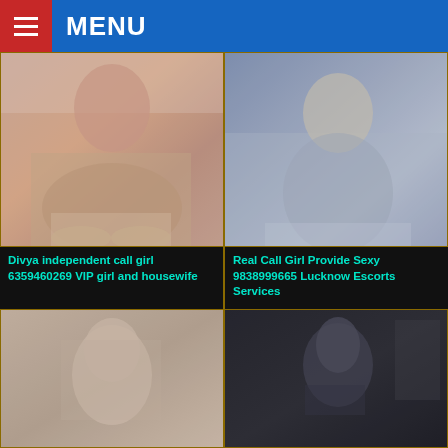MENU
[Figure (photo): Woman in pink outfit posing seated on surface wearing heels]
[Figure (photo): Woman in white bikini posing on couch]
Divya independent call girl 6359460269 VIP girl and housewife
Real Call Girl Provide Sexy 9838999665 Lucknow Escorts Services
[Figure (photo): Young woman with long dark hair, portrait photo]
[Figure (photo): Young woman taking mirror selfie with phone]